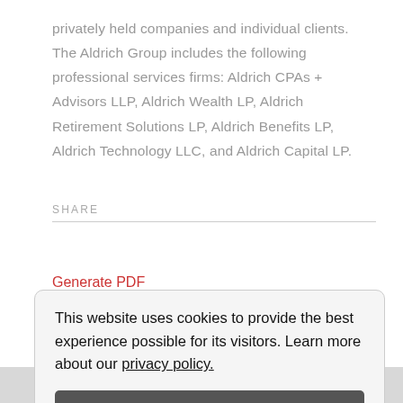privately held companies and individual clients. The Aldrich Group includes the following professional services firms: Aldrich CPAs + Advisors LLP, Aldrich Wealth LP, Aldrich Retirement Solutions LP, Aldrich Benefits LP, Aldrich Technology LLC, and Aldrich Capital LP.
SHARE
Generate PDF
This website uses cookies to provide the best experience possible for its visitors. Learn more about our privacy policy.
Got it!